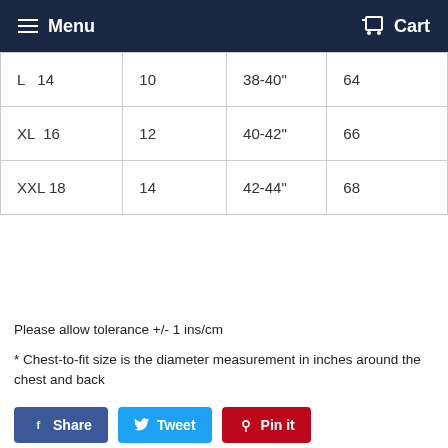Menu  Cart
| L | 14 | 10 | 38-40" | 64 |
| XL | 16 | 12 | 40-42" | 66 |
| XXL | 18 | 14 | 42-44" | 68 |
Please allow tolerance +/- 1 ins/cm
* Chest-to-fit size is the diameter measurement in inches around the chest and back
Share  Tweet  Pin it
WE ALSO RECOMMEND